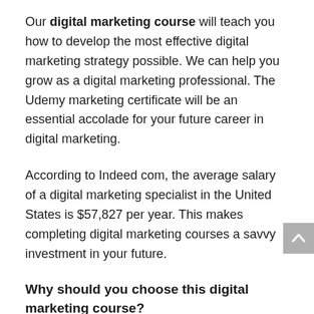Our digital marketing course will teach you how to develop the most effective digital marketing strategy possible. We can help you grow as a digital marketing professional. The Udemy marketing certificate will be an essential accolade for your future career in digital marketing.
According to Indeed com, the average salary of a digital marketing specialist in the United States is $57,827 per year. This makes completing digital marketing courses a savvy investment in your future.
Why should you choose this digital marketing course?